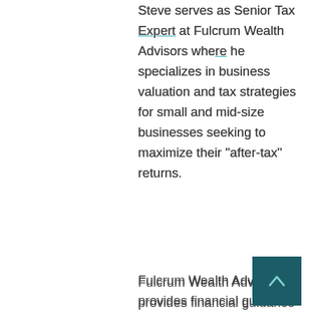Steve serves as Senior Tax Expert at Fulcrum Wealth Advisors where he specializes in business valuation and tax strategies for small and mid-size businesses seeking to maximize their “after-tax” returns.
Fulcrum Wealth Advisors provides financial guidance and plans for business owners seeking a strong foundation for both family and business finances that ultimately achieves life and legacy goals. Rise above the complexity and create a path for what’s next with our experienced advisor team. Learn more about our business financial planning services.